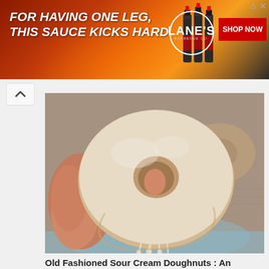[Figure (photo): Advertisement banner with dark background showing fire/flames. Text reads 'FOR HAVING ONE LEG, THIS SAUCE KICKS HARD' with hot sauce bottle image, LANE'S logo, and red SHOP NOW button.]
[Figure (photo): Close-up photograph of a glazed old fashioned sour cream doughnut being held by a hand, with white glaze dripping from it. Another doughnut visible in the background on a cooling rack.]
Old Fashioned Sour Cream Doughnuts : An Exercise in Experimentation
October 6, 2014
This post functions as both a recipe and a little behind-the-